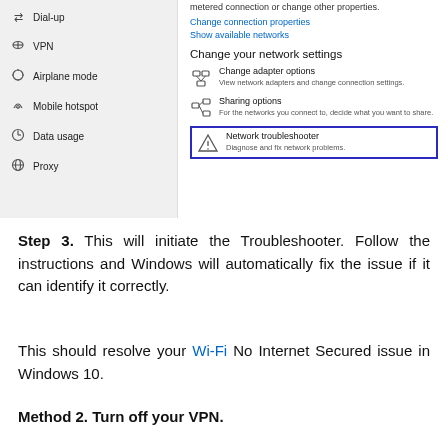[Figure (screenshot): Windows 10 Network Settings screenshot showing left navigation panel with Dial-up, VPN, Airplane mode, Mobile hotspot, Data usage, Proxy items, and right panel showing Change your network settings with options: Change adapter options, Sharing options, and Network troubleshooter (highlighted with blue border)]
Step 3. This will initiate the Troubleshooter. Follow the instructions and Windows will automatically fix the issue if it can identify it correctly.
This should resolve your Wi-Fi No Internet Secured issue in Windows 10.
Method 2. Turn off your VPN.